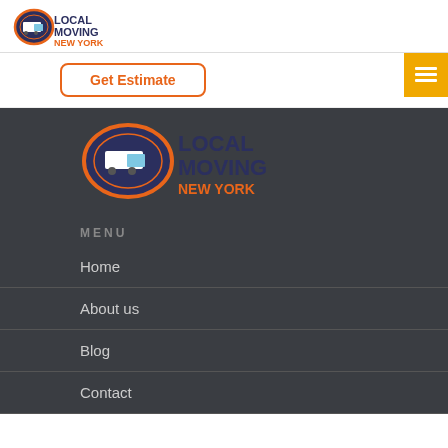Local Moving New York - Logo
Get Estimate
[Figure (logo): Local Moving New York logo - large version with orange oval border, dark blue truck, text LOCAL MOVING in dark blue and NEW YORK in orange]
MENU
Home
About us
Blog
Contact